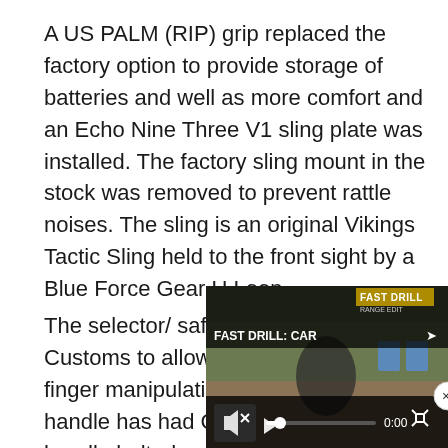A US PALM (RIP) grip replaced the factory option to provide storage of batteries and well as more comfort and an Echo Nine Three V1 sling plate was installed. The factory sling mount in the stock was removed to prevent rattle noises. The sling is an original Vikings Tactic Sling held to the front sight by a Blue Force Gear U Loop.
The selector/ safety lever is from Krebs Customs to allow bolt hold open and finger manipulation. The charging handle has had Circle 10 extended handle bolted on for a mo[re positive grip. The factory trigger was replace[d with a Geissele trigger] group.
[Figure (screenshot): Video player overlay showing 'FAST DRILL: CAR' with playback controls, mute button, timestamp 0:00, and a close (x) button. Background shows outdoor shooting range scene.]